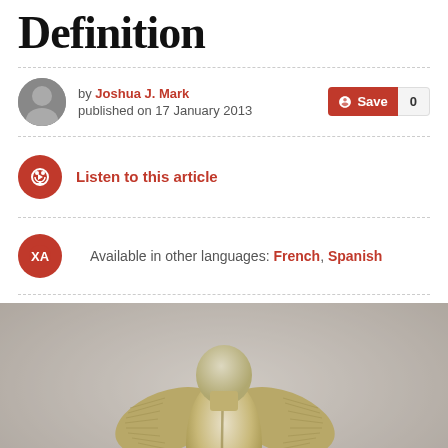Definition
by Joshua J. Mark published on 17 January 2013
Listen to this article
Available in other languages: French, Spanish
[Figure (photo): A metallic ancient artifact resembling a bird or deity figure, viewed from the front, with wing-like extensions on the sides and ribbed/striped decorative details, displayed against a gray wall background.]